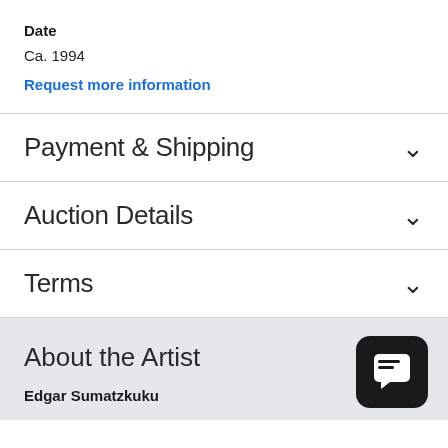Date
Ca. 1994
Request more information
Payment & Shipping
Auction Details
Terms
About the Artist
Edgar Sumatzkuku